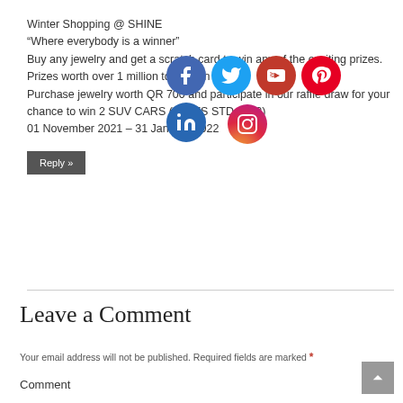Winter Shopping @ SHINE
“Where everybody is a winner”
Buy any jewelry and get a scratch card to win any of the exciting prizes.
Prizes worth over 1 million to be won
Purchase jewelry worth QR 700 and participate in our raffle draw for your chance to win 2 SUV CARS (MG ZS STD 2022)
01 November 2021 – 31 January 2022
[Figure (illustration): Social media icons: Facebook, Twitter, YouTube, Pinterest, LinkedIn, Instagram]
Reply »
Leave a Comment
Your email address will not be published. Required fields are marked *
Comment